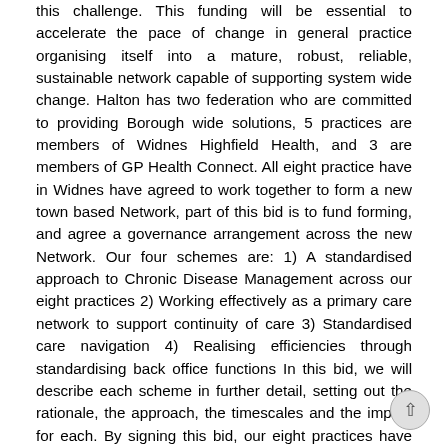this challenge. This funding will be essential to accelerate the pace of change in general practice organising itself into a mature, robust, reliable, sustainable network capable of supporting system wide change. Halton has two federation who are committed to providing Borough wide solutions, 5 practices are members of Widnes Highfield Health, and 3 are members of GP Health Connect. All eight practice have in Widnes have agreed to work together to form a new town based Network, part of this bid is to fund forming, and agree a governance arrangement across the new Network. Our four schemes are: 1) A standardised approach to Chronic Disease Management across our eight practices 2) Working effectively as a primary care network to support continuity of care 3) Standardised care navigation 4) Realising efficiencies through standardising back office functions In this bid, we will describe each scheme in further detail, setting out the rationale, the approach, the timescales and the impact for each. By signing this bid, our eight practices have committed to support and deliver these four schemes for the residents of Halton. We are also delighted to have the support from our CCG, place-based SRO, David Parr, and One Halton Board. Evidence – B1 1. What level of financial resources